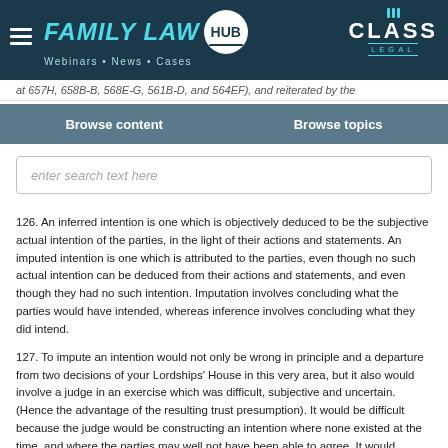FAMILY LAW HUB | CLASS LEGAL | Webinars · News · Cases
at 657H, 658B-B, 568E-G, 561B-D, and 564EF), and reiterated by the
Browse content | Browse topics
enter search text here
126. An inferred intention is one which is objectively deduced to be the subjective actual intention of the parties, in the light of their actions and statements. An imputed intention is one which is attributed to the parties, even though no such actual intention can be deduced from their actions and statements, and even though they had no such intention. Imputation involves concluding what the parties would have intended, whereas inference involves concluding what they did intend.
127. To impute an intention would not only be wrong in principle and a departure from two decisions of your Lordships' House in this very area, but it also would involve a judge in an exercise which was difficult, subjective and uncertain. (Hence the advantage of the resulting trust presumption). It would be difficult because the judge would be constructing an intention where none existed at the time, and where the parties may well not have been able to agree. It would